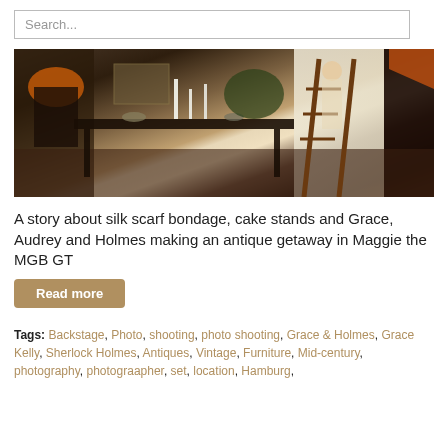Search...
[Figure (photo): Interior of an antique shop with candles, furniture, lamps, and a person on a ladder by a bright window]
A story about silk scarf bondage, cake stands and Grace, Audrey and Holmes making an antique getaway in Maggie the MGB GT
Read more
Tags: Backstage, Photo, shooting, photo shooting, Grace & Holmes, Grace Kelly, Sherlock Holmes, Antiques, Vintage, Furniture, Mid-century, photography, photograapher, set, location, Hamburg,